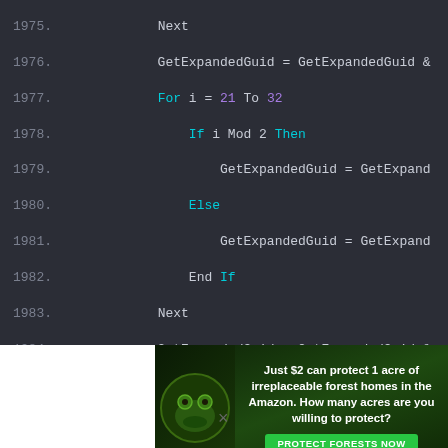[Figure (screenshot): Code editor screenshot showing Visual Basic code lines 1975-1992 with syntax highlighting on dark background. Lines show GetExpandedGuid function implementation with For loops, If/Else conditions, and beginning of GetCompressedGuid function with comment block.]
[Figure (infographic): Advertisement banner: Just $2 can protect 1 acre of irreplaceable forest homes in the Amazon. How many acres are you willing to protect? PROTECT FORESTS NOW button. Features forest frog image.]
×